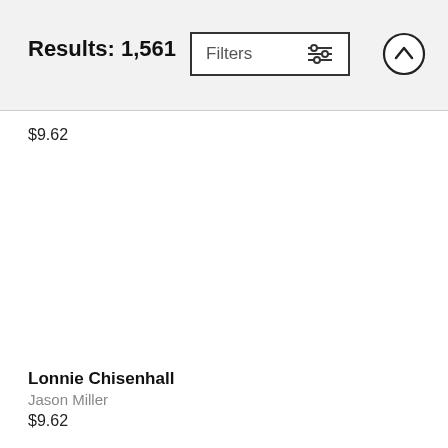Results: 1,561
Filters
$9.62
Lonnie Chisenhall
Jason Miller
$9.62